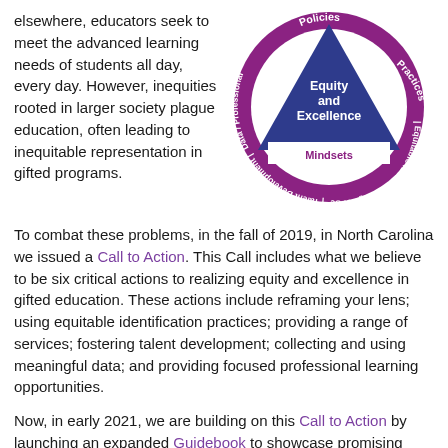elsewhere, educators seek to meet the advanced learning needs of students all day, every day. However, inequities rooted in larger society plague education, often leading to inequitable representation in gifted programs.
[Figure (infographic): Circular diagram showing 'Equity and Excellence' at center in a blue triangle, surrounded by a purple circle with labels: Policies (top), Practices (upper right), Equitable Identification (right), Range of Services (bottom right), Talent Development (bottom left), Data / Professional Development (left), Mindsets (bottom of triangle)]
To combat these problems, in the fall of 2019, in North Carolina we issued a Call to Action. This Call includes what we believe to be six critical actions to realizing equity and excellence in gifted education. These actions include reframing your lens; using equitable identification practices; providing a range of services; fostering talent development; collecting and using meaningful data; and providing focused professional learning opportunities.
Now, in early 2021, we are building on this Call to Action by launching an expanded Guidebook to showcase promising practices schools have begun using to better achieve equity and excellence in